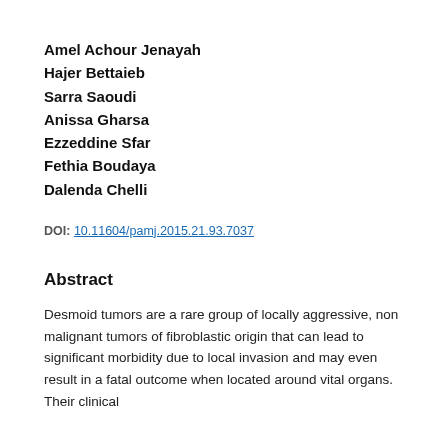Amel Achour Jenayah
Hajer Bettaieb
Sarra Saoudi
Anissa Gharsa
Ezzeddine Sfar
Fethia Boudaya
Dalenda Chelli
DOI: 10.11604/pamj.2015.21.93.7037
Abstract
Desmoid tumors are a rare group of locally aggressive, non malignant tumors of fibroblastic origin that can lead to significant morbidity due to local invasion and may even result in a fatal outcome when located around vital organs. Their clinical